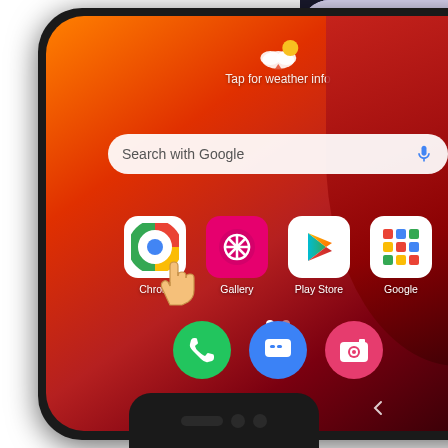[Figure (screenshot): Two Android smartphones side by side. The main phone on the left shows a Samsung Android home screen with an orange/red gradient wallpaper, a Google Search bar reading 'Search with Google', four app icons (Chrome, Gallery, Play Store, Google) with a hand cursor tapping Chrome, three dock icons (Phone, Messages, Camera), navigation bar, weather widget reading 'Tap for weather info', and page indicator dots. The right phone shows a purple/violet app screen with an illustration of a person, text 'Free mo' (truncated), a yellow button partially showing 'Sig', and text about Cell Phone Tracker. A third phone is partially visible at the bottom center.]